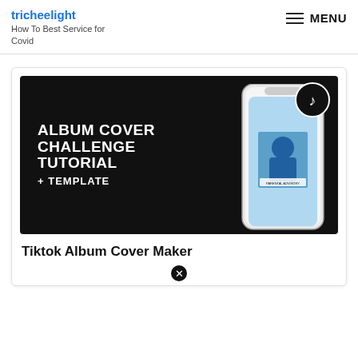tricheelight
How To Best Service for Covid
MENU
[Figure (screenshot): Thumbnail image with black background showing bold white text: ALBUM COVER CHALLENGE TUTORIAL + TEMPLATE, a phone mockup showing an album cover, and TikTok logo circle badge in top right]
Tiktok Album Cover Maker